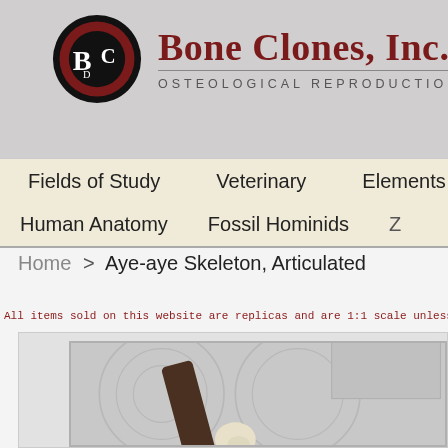[Figure (logo): Bone Clones Inc logo: circular emblem with BC letters in dark maroon on black circle, next to company name and tagline]
Bone Clones, Inc. OSTEOLOGICAL REPRODUCTIONS
Fields of Study   Veterinary   Elements   ...
Human Anatomy   Fossil Hominids   Z...
Home > Aye-aye Skeleton, Articulated
All items sold on this website are replicas and are 1:1 scale unless state...
[Figure (photo): Partial photo of an articulated Aye-aye skeleton mounted on a dark wooden base stand, showing skull and partial skeleton in light bone color against a light gray patterned background]